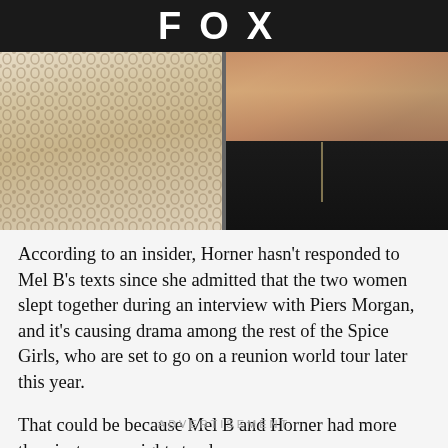FOX
[Figure (photo): Two side-by-side photos: left shows a white crochet/lace outfit, right shows a woman in a black halter dress viewed from behind/side]
According to an insider, Horner hasn't responded to Mel B's texts since she admitted that the two women slept together during an interview with Piers Morgan, and it's causing drama among the rest of the Spice Girls, who are set to go on a reunion world tour later this year.
That could be because Mel B and Horner had more than just a one-night stand.
ADVERTISEMENT